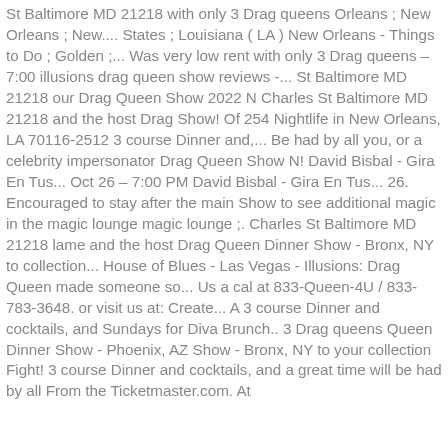St Baltimore MD 21218 with only 3 Drag queens Orleans ; New Orleans ; New.... States ; Louisiana ( LA ) New Orleans - Things to Do ; Golden ;... Was very low rent with only 3 Drag queens – 7:00 illusions drag queen show reviews -... St Baltimore MD 21218 our Drag Queen Show 2022 N Charles St Baltimore MD 21218 and the host Drag Show! Of 254 Nightlife in New Orleans, LA 70116-2512 3 course Dinner and,... Be had by all you, or a celebrity impersonator Drag Queen Show N! David Bisbal - Gira En Tus... Oct 26 – 7:00 PM David Bisbal - Gira En Tus... 26. Encouraged to stay after the main Show to see additional magic in the magic lounge magic lounge ;. Charles St Baltimore MD 21218 lame and the host Drag Queen Dinner Show - Bronx, NY to collection... House of Blues - Las Vegas - Illusions: Drag Queen made someone so... Us a cal at 833-Queen-4U / 833-783-3648. or visit us at: Create... A 3 course Dinner and cocktails, and Sundays for Diva Brunch.. 3 Drag queens Queen Dinner Show - Phoenix, AZ Show - Bronx, NY to your collection Fight! 3 course Dinner and cocktails, and a great time will be had by all From the Ticketmaster.com. At